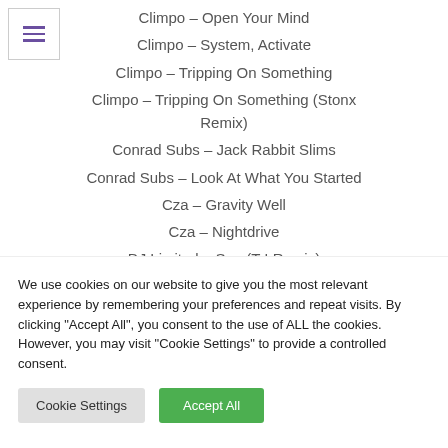Climpo – Open Your Mind
Climpo – System, Activate
Climpo – Tripping On Something
Climpo – Tripping On Something (Stonx Remix)
Conrad Subs – Jack Rabbit Slims
Conrad Subs – Look At What You Started
Cza – Gravity Well
Cza – Nightdrive
DJ Limited – Sun (T I Remix)
We use cookies on our website to give you the most relevant experience by remembering your preferences and repeat visits. By clicking "Accept All", you consent to the use of ALL the cookies. However, you may visit "Cookie Settings" to provide a controlled consent.